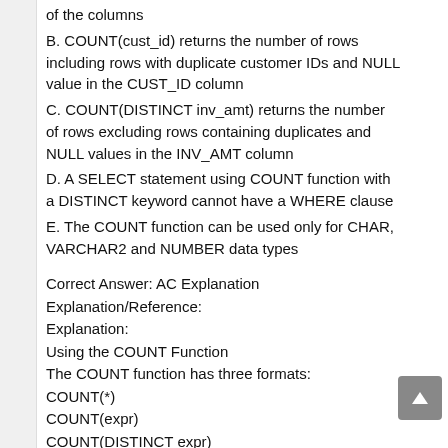of the columns
B. COUNT(cust_id) returns the number of rows including rows with duplicate customer IDs and NULL value in the CUST_ID column
C. COUNT(DISTINCT inv_amt) returns the number of rows excluding rows containing duplicates and NULL values in the INV_AMT column
D. A SELECT statement using COUNT function with a DISTINCT keyword cannot have a WHERE clause
E. The COUNT function can be used only for CHAR, VARCHAR2 and NUMBER data types
Correct Answer: AC Explanation
Explanation/Reference:
Explanation:
Using the COUNT Function
The COUNT function has three formats:
COUNT(*)
COUNT(expr)
COUNT(DISTINCT expr)